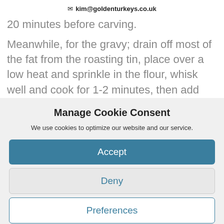✉ kim@goldenturkeys.co.uk
20 minutes before carving.
Meanwhile, for the gravy; drain off most of the fat from the roasting tin, place over a low heat and sprinkle in the flour, whisk well and cook for 1-2 minutes, then add the wine and
Manage Cookie Consent
We use cookies to optimize our website and our service.
Accept
Deny
Preferences